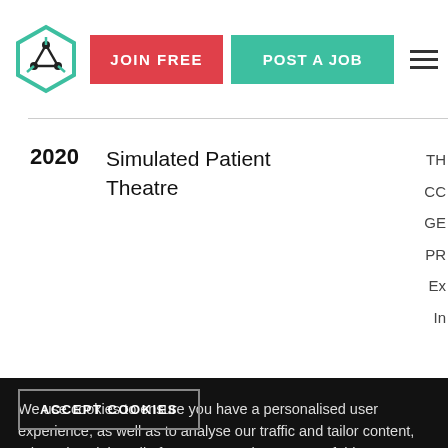JOIN FREE | POST A JOB
| Year | Event | Tags |
| --- | --- | --- |
| 2020 | Simulated Patient Theatre | TH
CC
GE
PR
Ex
In |
| 2020 | Simulated Patient Theatre | CA
EX
S
PR |
| 2019 | Simulated Patient Theatre | TH
CC
GE |
We use cookies to ensure you have a personalised user experience, as well as to analyse our traffic and tailor content, ads and social media features. We share some of this information with our technology, analytics and marketing partners. Privacy Policy
ACCEPT COOKIES